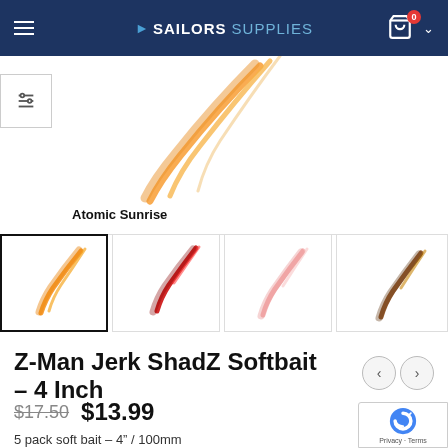SAILORS SUPPLIES
[Figure (photo): Atomic Sunrise fishing softbait lure - orange translucent color, main product image]
Atomic Sunrise
[Figure (photo): Thumbnail 1: Atomic Sunrise orange softbait lure (selected)]
[Figure (photo): Thumbnail 2: Red/orange softbait lure]
[Figure (photo): Thumbnail 3: Pink/pale softbait lure]
[Figure (photo): Thumbnail 4: Brown/gold softbait lure]
Z-Man Jerk ShadZ Softbait – 4 Inch
$17.50  $13.99
5 pack soft bait – 4" / 100mm